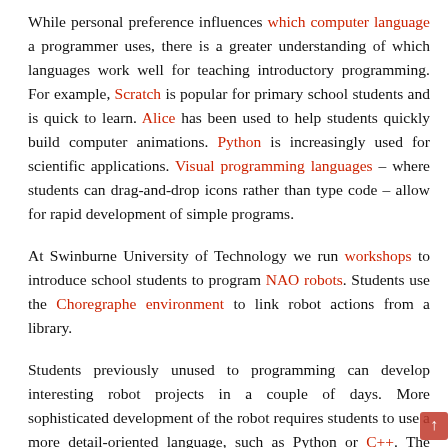While personal preference influences which computer language a programmer uses, there is a greater understanding of which languages work well for teaching introductory programming. For example, Scratch is popular for primary school students and is quick to learn. Alice has been used to help students quickly build computer animations. Python is increasingly used for scientific applications. Visual programming languages – where students can drag-and-drop icons rather than type code – allow for rapid development of simple programs.
At Swinburne University of Technology we run workshops to introduce school students to program NAO robots. Students use the Choregraphe environment to link robot actions from a library.
Students previously unused to programming can develop interesting robot projects in a couple of days. More sophisticated development of the robot requires students to use a more detail-oriented language, such as Python or C++. The simpler options lead to positive student experience.